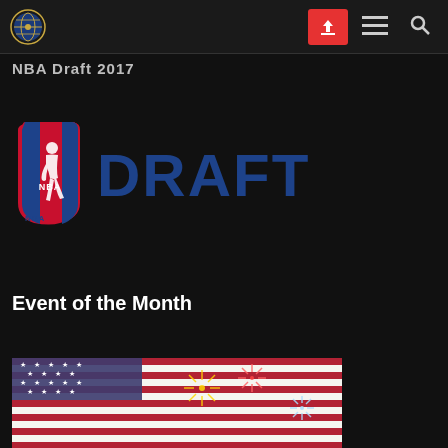Navigation bar with logo, upload, menu, and search icons
NBA Draft 2017 (partial, cut off at top)
[Figure (logo): NBA Draft logo — NBA shield icon on left in red/white/blue, text 'DRAFT' in bold blue letters, small 'NBA' text below shield]
Event of the Month
[Figure (photo): American flag with fireworks — patriotic 4th of July themed image partially visible at bottom of page]